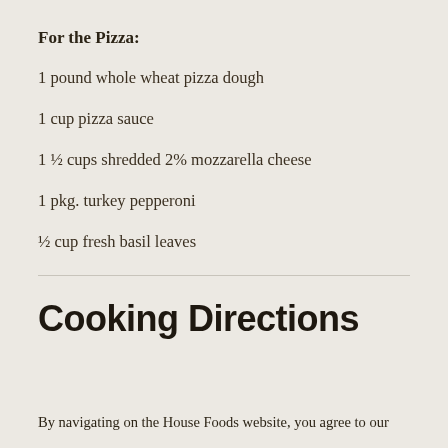For the Pizza:
1 pound whole wheat pizza dough
1 cup pizza sauce
1 ½ cups shredded 2% mozzarella cheese
1 pkg. turkey pepperoni
½ cup fresh basil leaves
Cooking Directions
By navigating on the House Foods website, you agree to our